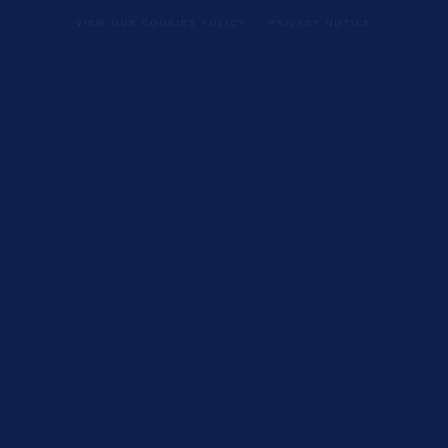VIEW OUR COOKIES POLICY   PRIVACY NOTICE